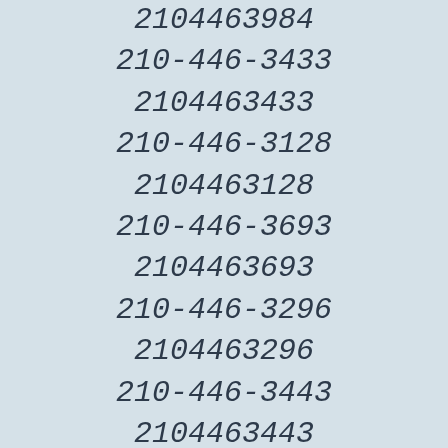2104463984
210-446-3433
2104463433
210-446-3128
2104463128
210-446-3693
2104463693
210-446-3296
2104463296
210-446-3443
2104463443
210-446-3247
2104463247
210-446-3217
2104463217